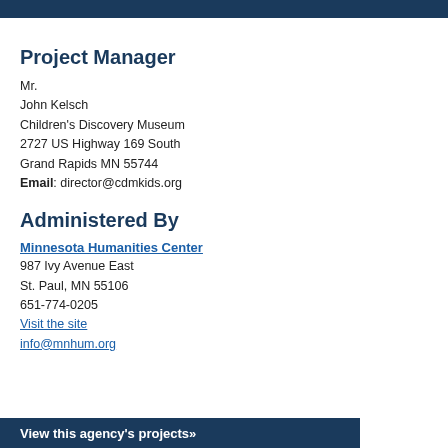Project Manager
Mr.
John Kelsch
Children's Discovery Museum
2727 US Highway 169 South
Grand Rapids MN 55744
Email: director@cdmkids.org
Administered By
Minnesota Humanities Center
987 Ivy Avenue East
St. Paul, MN 55106
651-774-0205
Visit the site
info@mnhum.org
View this agency's projects»